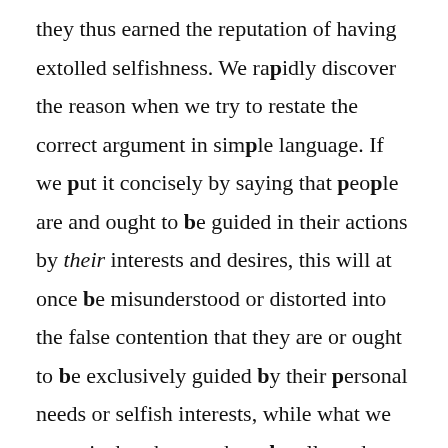they thus earned the reputation of having extolled selfishness. We rapidly discover the reason when we try to restate the correct argument in simple language. If we put it concisely by saying that people are and ought to be guided in their actions by their interests and desires, this will at once be misunderstood or distorted into the false contention that they are or ought to be exclusively guided by their personal needs or selfish interests, while what we mean is that they ought to be allowed to strive for whatever they think desirable.

Another misleading phrase, used to stress an important point, is the famous presumption that each man knows his interests best. In this form the